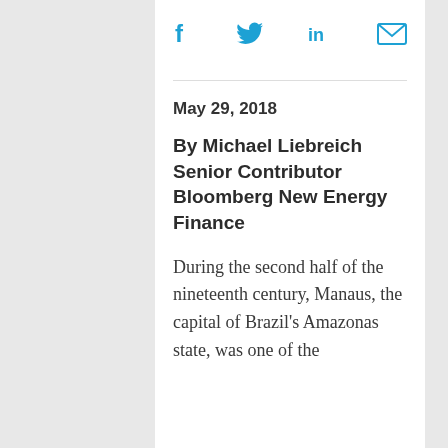[Figure (other): Social sharing icons: Facebook (f), Twitter (bird), LinkedIn (in), Email (envelope)]
May 29, 2018
By Michael Liebreich Senior Contributor Bloomberg New Energy Finance
During the second half of the nineteenth century, Manaus, the capital of Brazil's Amazonas state, was one of the